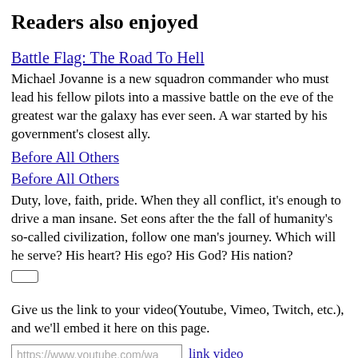Readers also enjoyed
Battle Flag: The Road To Hell
Michael Jovanne is a new squadron commander who must lead his fellow pilots into a massive battle on the eve of the greatest war the galaxy has ever seen. A war started by his government’s closest ally.
Before All Others
Before All Others
Duty, love, faith, pride. When they all conflict, it’s enough to drive a man insane. Set eons after the the fall of humanity’s so-called civilization, follow one man’s journey. Which will he serve? His heart? His ego? His God? His nation?
Give us the link to your video(Youtube, Vimeo, Twitch, etc.), and we’ll embed it here on this page.
https://www.youtube.com/wa  link video  close
I’ve been thinking about this one for a while now. I always liked those old movies, you know ‘Blind Fury’ with Rutger Hauer and Zatoichi. I wanted to have a hero that had to overcome a terrible hardship, but I wanted him to have access to a source of power that